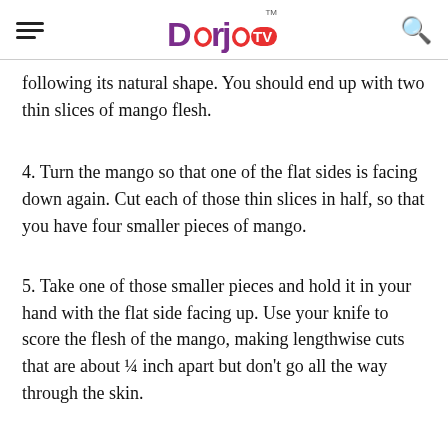Dorjetv
following its natural shape. You should end up with two thin slices of mango flesh.
4. Turn the mango so that one of the flat sides is facing down again. Cut each of those thin slices in half, so that you have four smaller pieces of mango.
5. Take one of those smaller pieces and hold it in your hand with the flat side facing up. Use your knife to score the flesh of the mango, making lengthwise cuts that are about ¼ inch apart but don't go all the way through the skin.